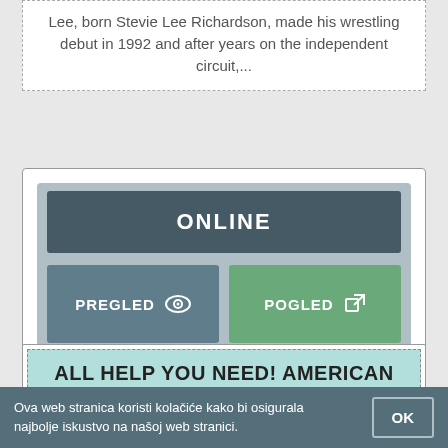Lee, born Stevie Lee Richardson, made his wrestling debut in 1992 and after years on the independent circuit,...
[Figure (screenshot): Online content card with ONLINE button in dark grey, and two buttons: PREGLED (preview) with eye icon in teal, and POGLED (view) with external link icon in green]
ALL HELP YOU NEED! AMERICAN HORROR STORY SEASON 1 ONLINE SA PREVODOM! ALL IN...
Ova web stranica koristi kolačiće kako bi osigurala najbolje iskustvo na našoj web stranici.